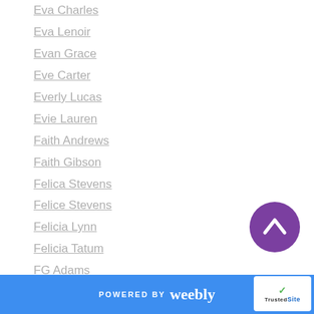Eva Charles
Eva Lenoir
Evan Grace
Eve Carter
Everly Lucas
Evie Lauren
Faith Andrews
Faith Gibson
Felica Stevens
Felice Stevens
Felicia Lynn
Felicia Tatum
FG Adams
Fionn Jemeson
Frances Fowlkes
Frankie Love
Freya Barker
POWERED BY weebly